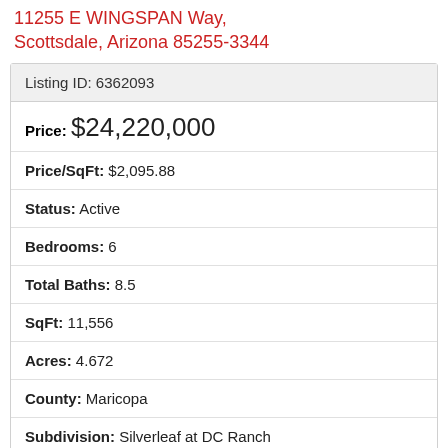11255 E WINGSPAN Way, Scottsdale, Arizona 85255-3344
| Field | Value |
| --- | --- |
| Listing ID: | 6362093 |
| Price: | $24,220,000 |
| Price/SqFt: | $2,095.88 |
| Status: | Active |
| Bedrooms: | 6 |
| Total Baths: | 8.5 |
| SqFt: | 11,556 |
| Acres: | 4.672 |
| County: | Maricopa |
| Subdivision: | Silverleaf at DC Ranch |
| Year Built: | 2021 |
| Property Type: | Residential |